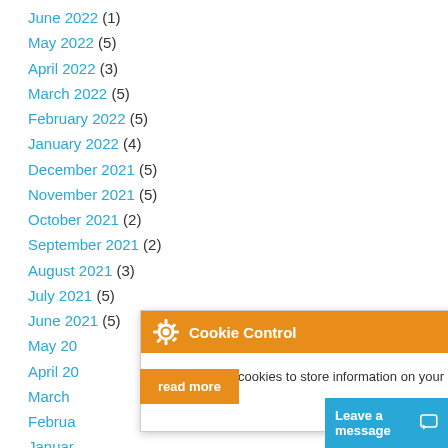June 2022 (1)
May 2022 (5)
April 2022 (3)
March 2022 (5)
February 2022 (5)
January 2022 (4)
December 2021 (5)
November 2021 (5)
October 2021 (2)
September 2021 (2)
August 2021 (3)
July 2021 (5)
June 2021 (5)
May 20...
April 20...
March...
Februa...
Januar...
December 2020 (8)
[Figure (screenshot): Cookie Control popup overlay with orange header, gear icon, title 'Cookie Control', close X button, body text 'This site uses cookies to store information on your computer.', 'About this tool' link. Below: orange 'read more' button and cyan 'Leave a message' chat bar.]